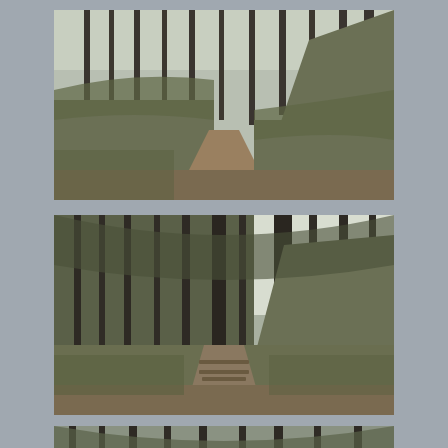[Figure (photo): Forest trail photograph showing a narrow dirt path winding through tall pine trees with low green undergrowth on both sides and a hill to the right. Overcast sky visible through the canopy.]
[Figure (photo): Forest trail photograph showing a similar pine forest path with wooden steps/boards across the trail, dense undergrowth, tall straight tree trunks, and a grassy hillside to the right. Brighter sky visible in background.]
[Figure (photo): Partial forest photograph at the bottom of the page, showing the tops of pine trees and canopy — only partially visible, cut off at bottom edge.]